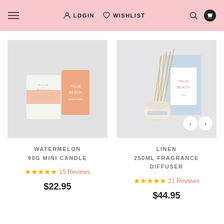≡  LOGIN  ♡ WISHLIST  🔍  🛍
[Figure (photo): Palm Beach Watermelon 90g Mini Candle product photo on grey background — a white glass candle jar and a peach/orange rectangular box with Palm Beach branding]
WATERMELON
90G MINI CANDLE
★★★★★ 15 Reviews
$22.95
[Figure (photo): Palm Beach Linen 250ml Fragrance Diffuser product photo on grey background — a glass diffuser bottle with reed sticks and a light blue/white box with Palm Beach branding, with navigation arrows]
LINEN
250ML FRAGRANCE
DIFFUSER
★★★★★ 21 Reviews
$44.95